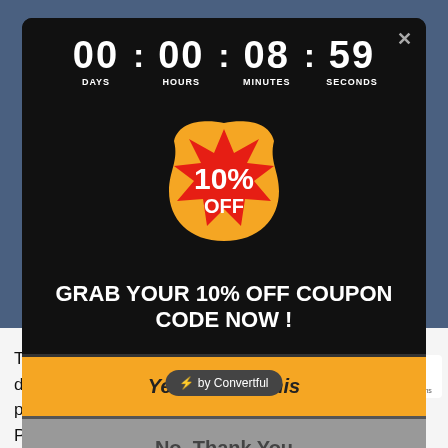[Figure (screenshot): Countdown timer showing 00:08:59 with labels DAYS, HOURS, MINUTES, SECONDS on dark background]
[Figure (infographic): 10% OFF promotional badge - red starburst shape with yellow accent]
GRAB YOUR 10% OFF COUPON CODE NOW !
Yes, I Want This
No, Thank You
The Crew is an online-only racing video game developed by Ivory ... ft Reflections ... published by Ubisoft for Microsoft Windows, PlayStation 4 and Xbox One, with an Xbox 360 port
⚡by Convertful